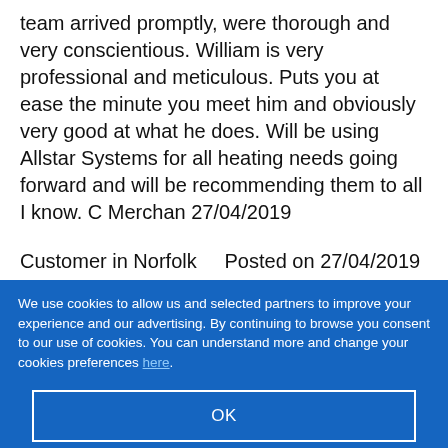team arrived promptly, were thorough and very conscientious. William is very professional and meticulous. Puts you at ease the minute you meet him and obviously very good at what he does. Will be using Allstar Systems for all heating needs going forward and will be recommending them to all I know. C Merchan 27/04/2019
Customer in Norfolk    Posted on 27/04/2019 ,
We use cookies to allow us and selected partners to improve your experience and our advertising. By continuing to browse you consent to our use of cookies. You can understand more and change your cookies preferences here.